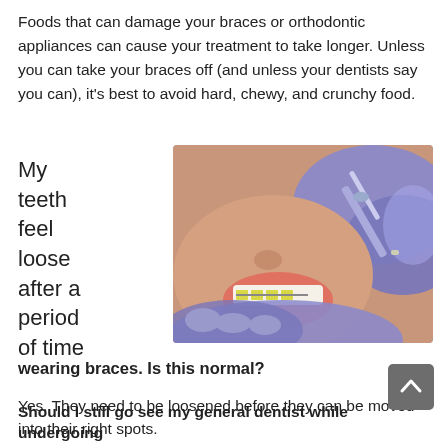Foods that can damage your braces or orthodontic appliances can cause your treatment to take longer. Unless you can take your braces off (and unless your dentists say you can), it's best to avoid hard, chewy, and crunchy food.
My teeth feel loose after a period of time wearing braces. Is this normal?
[Figure (photo): Close-up photo of a person with dental braces smiling, while a dental professional wearing purple latex gloves works on their teeth with a dental instrument.]
My teeth feel loose after a period of time wearing braces. Is this normal?
Yes. They need to be loosened before they can be moved into their right spots.
Should I still go see my general dentist while undergoing